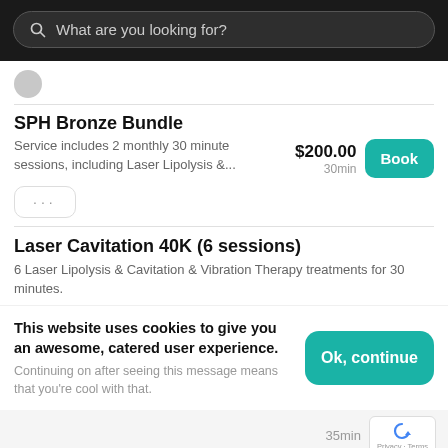What are you looking for?
SPH Bronze Bundle
Service includes 2 monthly 30 minute sessions, including Laser Lipolysis &...
$200.00
30min
Laser Cavitation 40K (6 sessions)
6 Laser Lipolysis & Cavitation & Vibration Therapy treatments for 30 minutes.
This website uses cookies to give you an awesome, catered user experience. Continuing on after seeing this message means that you're cool with that.
35min
Option 2
$540.00